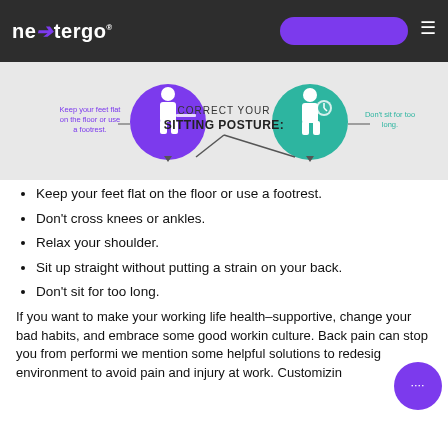nextergo
[Figure (infographic): Infographic showing 'Correct Your Sitting Posture' tips with icons for feet flat on floor/footrest, and don't sit for too long, with circular icons of a person sitting]
Keep your feet flat on the floor or use a footrest.
Don't cross knees or ankles.
Relax your shoulder.
Sit up straight without putting a strain on your back.
Don't sit for too long.
If you want to make your working life health-supportive, change your bad habits, and embrace some good working culture. Back pain can stop you from performing, we mention some helpful solutions to redesign environment to avoid pain and injury at work. Customizin